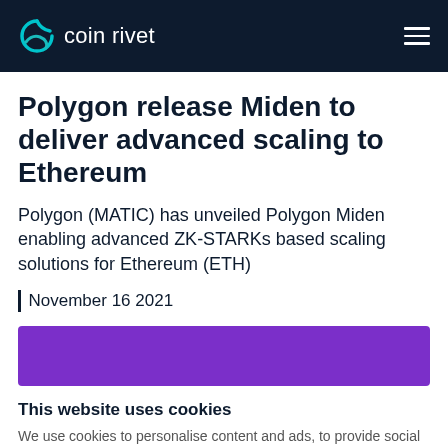coin rivet
Polygon release Miden to deliver advanced scaling to Ethereum
Polygon (MATIC) has unveiled Polygon Miden enabling advanced ZK-STARKs based scaling solutions for Ethereum (ETH)
| November 16 2021
[Figure (other): Purple banner/advertisement placeholder]
This website uses cookies
We use cookies to personalise content and ads, to provide social media features and to analyse our traffic. We also share information about your use of our site with our social